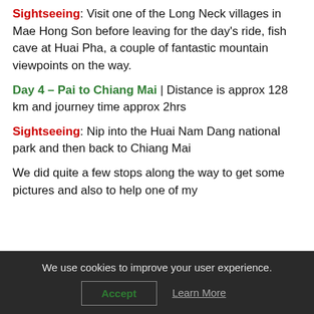Sightseeing: Visit one of the Long Neck villages in Mae Hong Son before leaving for the day's ride, fish cave at Huai Pha, a couple of fantastic mountain viewpoints on the way.
Day 4 – Pai to Chiang Mai | Distance is approx 128 km and journey time approx 2hrs
Sightseeing: Nip into the Huai Nam Dang national park and then back to Chiang Mai
We did quite a few stops along the way to get some pictures and also to help one of my
We use cookies to improve your user experience.
Accept
Learn More